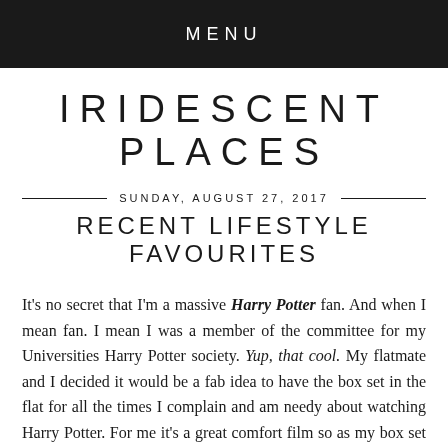MENU
IRIDESCENT PLACES
SUNDAY, AUGUST 27, 2017
RECENT LIFESTYLE FAVOURITES
It's no secret that I'm a massive Harry Potter fan. And when I mean fan. I mean I was a member of the committee for my Universities Harry Potter society. Yup, that cool. My flatmate and I decided it would be a fab idea to have the box set in the flat for all the times I complain and am needy about watching Harry Potter. For me it's a great comfort film so as my box set is back in Switzerland, we went to CEX and picked up for an amazing bargain our own one. We just finished re-watching all of them and I have just re-kindled my love all over again. I'm off to see the play in